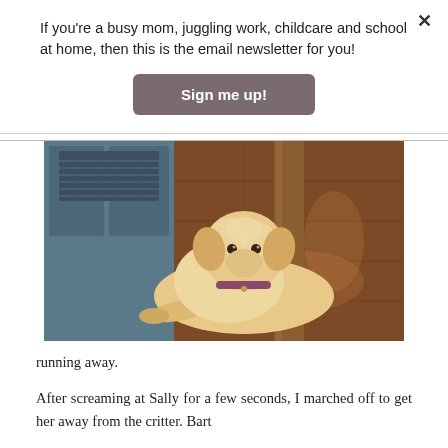If you're a busy mom, juggling work, childcare and school at home, then this is the email newsletter for you!
[Figure (other): Sign me up! button — a rounded rectangle button with grey-brown background and white bold text]
[Figure (photo): A small fluffy cream/beige dog lying on a hardwood floor, looking up at the camera. In the background is a blue cabinet with a metal vent grill and a wooden post.]
running away.
After screaming at Sally for a few seconds, I marched off to get her away from the critter. Bart